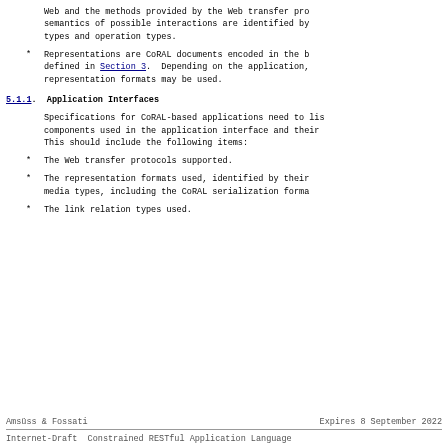Web and the methods provided by the Web transfer pro semantics of possible interactions are identified by types and operation types.
Representations are CoRAL documents encoded in the b defined in Section 3. Depending on the application, representation formats may be used.
5.1.1. Application Interfaces
Specifications for CoRAL-based applications need to lis components used in the application interface and their This should include the following items:
The Web transfer protocols supported.
The representation formats used, identified by their media types, including the CoRAL serialization forma
The link relation types used.
Amsüss & Fossati        Expires 8 September 2022
Internet-Draft  Constrained RESTful Application Language